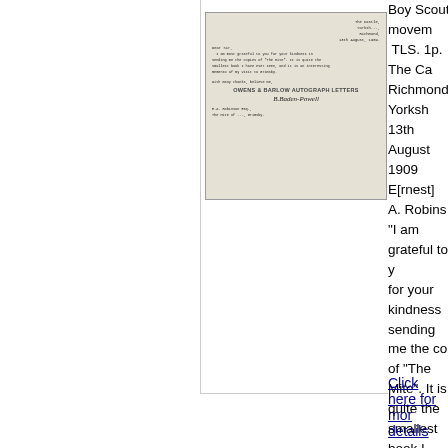[Figure (photo): A scanned typed letter on aged paper, showing the letterhead, body text, a stamp reading OWENS BARLOW AUTOGRAPH LETTERS, an autograph signature, and a recipient address at bottom.]
Boy Scout movement. TLS. 1p. The Castle, Richmond, Yorkshire. 13th August 1909. To E[rnest] A. Robinson. "I am grateful to you for your kindness in sending me the copy of "The Mite". It is quite the smallest book I have ever seen, and it is an interesting memento of my visit to Grimsby." With a clear autograph SIGNATURE. 4to. Approx 10 x 7.75 inches. Slight crease. The downstroke of the last character of the autograph signature is slightly smudged, probably by Baden-Powell himself when.....
Click here for more details